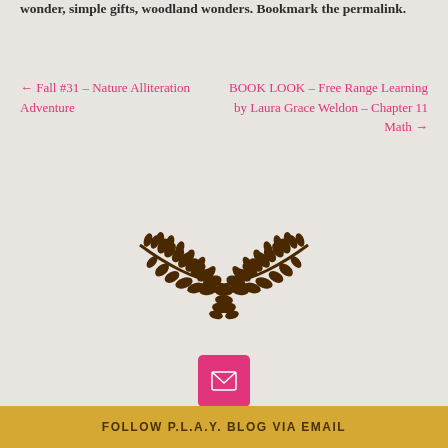wonder, simple gifts, woodland wonders. Bookmark the permalink.
← Fall #31 – Nature Alliteration Adventure
BOOK LOOK – Free Range Learning by Laura Grace Weldon – Chapter 11 Math →
[Figure (illustration): Decorative brown laurel/leaf wreath illustration, symmetrical, wings shape]
[Figure (other): Pink/magenta square button with envelope/email icon]
FOLLOW P.L.A.Y. BLOG VIA EMAIL